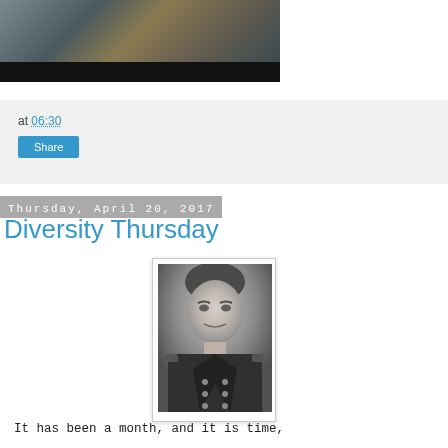[Figure (photo): Partial view of an underwater or mechanical scene with dark bar at bottom]
at 06:30
Share
Thursday, April 20, 2017
Diversity Thursday
[Figure (photo): Black and white portrait photograph of a young man in military dress uniform, smiling]
It has been a month, and it is time,